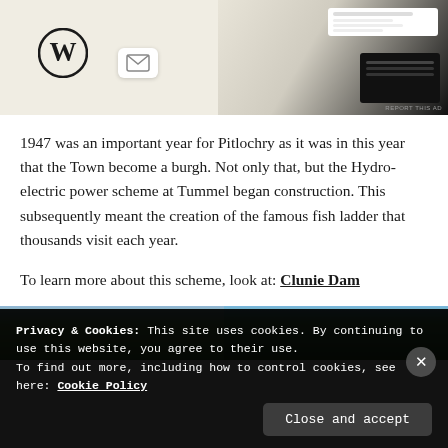[Figure (screenshot): Advertisement banner showing WordPress logo, email/messaging icon, and a mockup of a website/menu on right side. 'REPORT THIS AD' text in bottom right.]
1947 was an important year for Pitlochry as it was in this year that the Town become a burgh. Not only that, but the Hydro-electric power scheme at Tummel began construction. This subsequently meant the creation of the famous fish ladder that thousands visit each year.
To learn more about this scheme, look at: Clunie Dam
[Figure (photo): Two landscape photos side by side showing wooded hills and trees against blue sky.]
Privacy & Cookies: This site uses cookies. By continuing to use this website, you agree to their use.
To find out more, including how to control cookies, see here: Cookie Policy